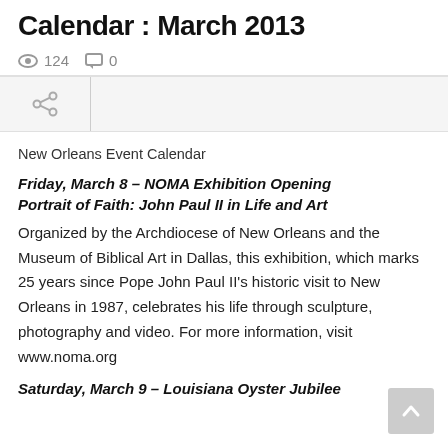Calendar : March 2013
124  0
New Orleans Event Calendar
Friday, March 8 – NOMA Exhibition Opening Portrait of Faith: John Paul II in Life and Art
Organized by the Archdiocese of New Orleans and the Museum of Biblical Art in Dallas, this exhibition, which marks 25 years since Pope John Paul II's historic visit to New Orleans in 1987, celebrates his life through sculpture, photography and video. For more information, visit www.noma.org
Saturday, March 9 – Louisiana Oyster Jubilee